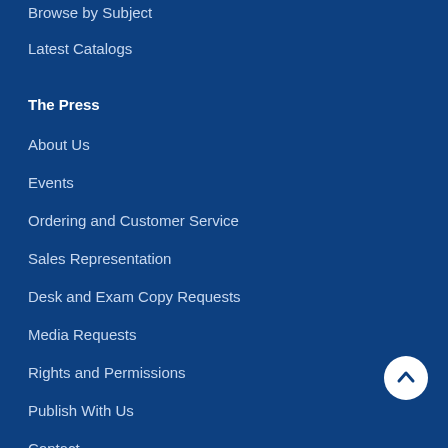Browse by Subject
Latest Catalogs
The Press
About Us
Events
Ordering and Customer Service
Sales Representation
Desk and Exam Copy Requests
Media Requests
Rights and Permissions
Publish With Us
Contact
Get on the List!
Join the SUNY Press email list for the latest information